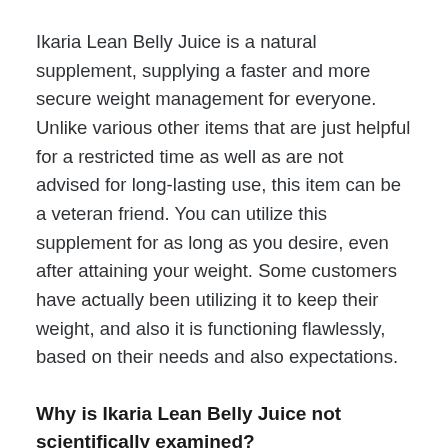Ikaria Lean Belly Juice is a natural supplement, supplying a faster and more secure weight management for everyone. Unlike various other items that are just helpful for a restricted time as well as are not advised for long-lasting use, this item can be a veteran friend. You can utilize this supplement for as long as you desire, even after attaining your weight. Some customers have actually been utilizing it to keep their weight, and also it is functioning flawlessly, based on their needs and also expectations.
Why is Ikaria Lean Belly Juice not scientifically examined?
Ikaria Lean Belly Juice is not medically examined